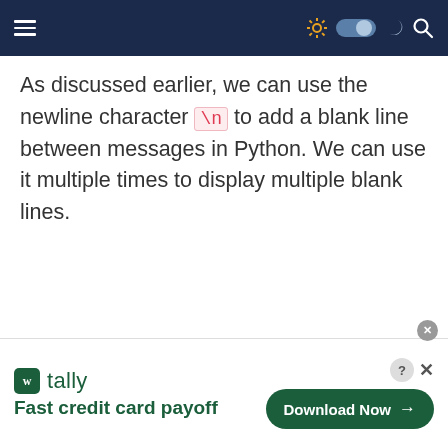navigation bar with hamburger menu and icons
As discussed earlier, we can use the newline character \n to add a blank line between messages in Python. We can use it multiple times to display multiple blank lines.
[Figure (screenshot): Advertisement banner for Tally app: 'Fast credit card payoff' with a Download Now button]